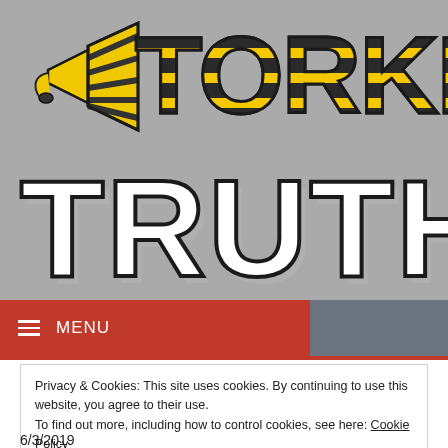[Figure (logo): Torked Truth website logo with stylized yellow-and-black striped letters spelling TORKED above large white 3D block letters spelling TRUTH, with a megaphone graphic at the left, on a gray background]
≡  MENU
Privacy & Cookies: This site uses cookies. By continuing to use this website, you agree to their use.
To find out more, including how to control cookies, see here: Cookie Policy
Close and accept
6/3/2019